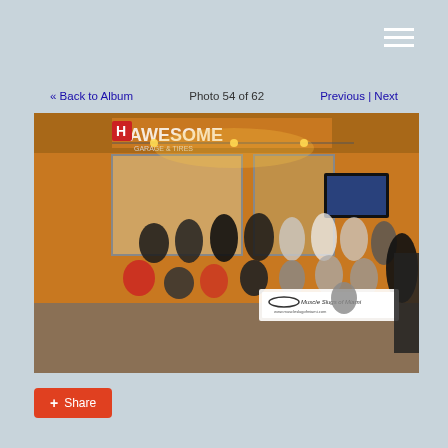[Figure (other): Hamburger menu icon (three white horizontal lines) in the top right corner]
« Back to Album
Photo 54 of 62
Previous | Next
[Figure (photo): Group photo of approximately 20 people gathered in front of a store with yellow/orange walls and a TV mounted on the wall. The group is holding a banner that reads 'Muscle Slings of Miami' with a website URL. The photo is taken at night and the store is lit with warm orange lighting. A red H logo is visible in the upper left of the store front.]
Share